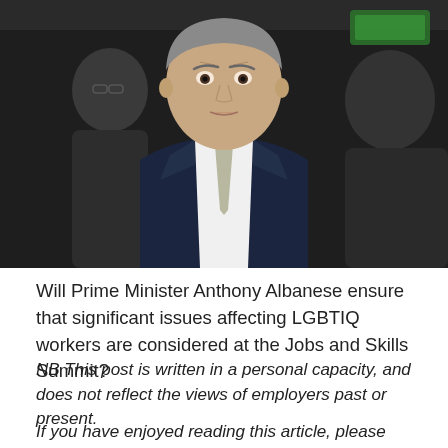[Figure (photo): Photograph of Prime Minister Anthony Albanese in a dark suit and grey tie, speaking at a press conference with people visible in the background]
Will Prime Minister Anthony Albanese ensure that significant issues affecting LGBTIQ workers are considered at the Jobs and Skills Summit?
NB This post is written in a personal capacity, and does not reflect the views of employers past or present.
If you have enjoyed reading this article, please consider subscribing to receive future posts, via the right-hand